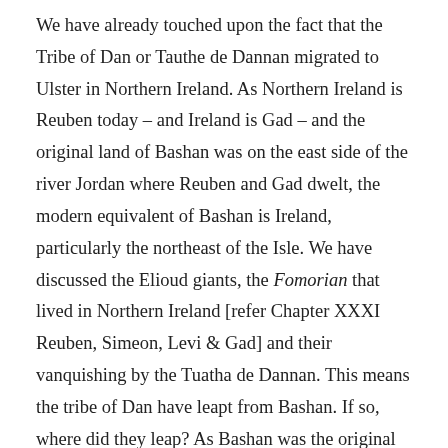We have already touched upon the fact that the Tribe of Dan or Tauthe de Dannan migrated to Ulster in Northern Ireland. As Northern Ireland is Reuben today – and Ireland is Gad – and the original land of Bashan was on the east side of the river Jordan where Reuben and Gad dwelt, the modern equivalent of Bashan is Ireland, particularly the northeast of the Isle. We have discussed the Elioud giants, the Fomorian that lived in Northern Ireland [refer Chapter XXXI Reuben, Simeon, Levi & Gad] and their vanquishing by the Tuatha de Dannan. This means the tribe of Dan have leapt from Bashan. If so, where did they leap? As Bashan was the original home of the Watchers on Mount Hermon and later, the home of the giants, such as King Og, and then again, the home of the tribe of Dan, a spiritual